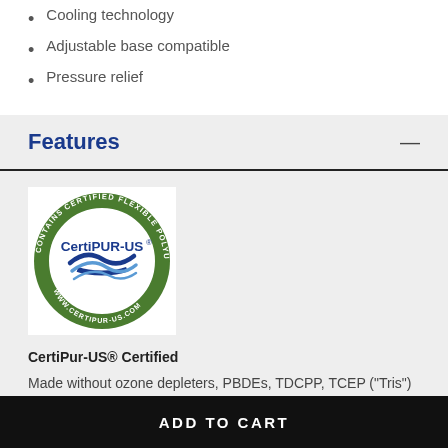Cooling technology
Adjustable base compatible
Pressure relief
Features
[Figure (logo): CertiPUR-US certified flexible polyurethane foam circular green badge logo]
CertiPur-US® Certified
Made without ozone depleters, PBDEs, TDCPP, TCEP ("Tris") flame retardants, heavy metals, formaldehyde, phthalates regulated by the Consumer Product Safety
ADD TO CART